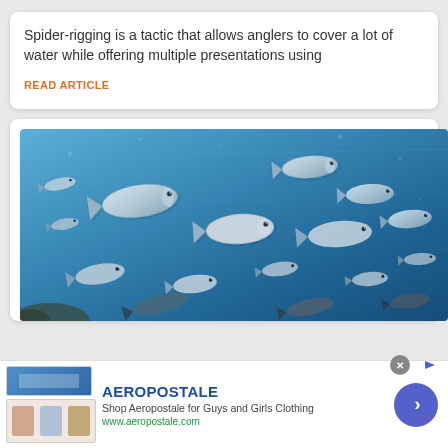Spider-rigging is a tactic that allows anglers to cover a lot of water while offering multiple presentations using
READ ARTICLE
[Figure (photo): Underwater photo of a large school of silver fish swimming in blue ocean water]
AEROPOSTALE
Shop Aeropostale for Guys and Girls Clothing
www.aeropostale.com